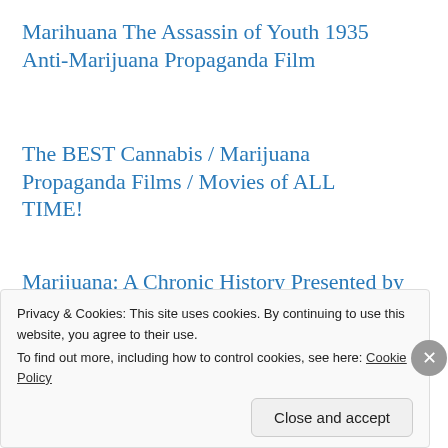Marihuana The Assassin of Youth 1935 Anti-Marijuana Propaganda Film
The BEST Cannabis / Marijuana Propaganda Films / Movies of ALL TIME!
Marijuana: A Chronic History Presented by the History Channel
NGC’s Drugs Inc.: Marijuana
NGC’s Marijuana Nation
Privacy & Cookies: This site uses cookies. By continuing to use this website, you agree to their use.
To find out more, including how to control cookies, see here: Cookie Policy
Close and accept